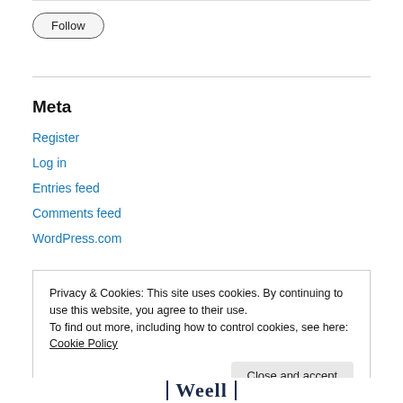[Figure (other): Follow button — rounded pill-shaped button with label 'Follow']
Meta
Register
Log in
Entries feed
Comments feed
WordPress.com
Privacy & Cookies: This site uses cookies. By continuing to use this website, you agree to their use.
To find out more, including how to control cookies, see here: Cookie Policy
[Figure (other): Close and accept button]